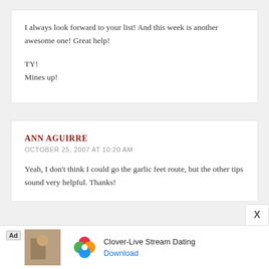I always look forward to your list! And this week is another awesome one! Great help!

TY!
Mines up!
ANN AGUIRRE
OCTOBER 25, 2007 AT 10:20 AM
Yeah, I don't think I could go the garlic feet route, but the other tips sound very helpful. Thanks!
Ad Clover-Live Stream Dating Download